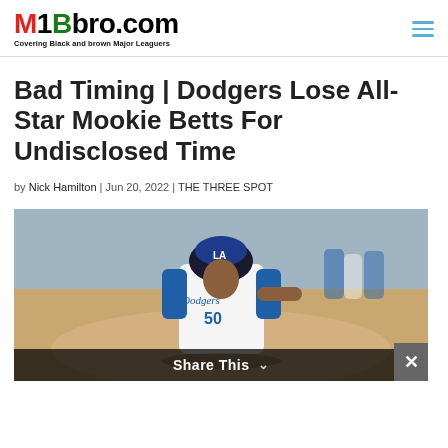MLBbro.com — Covering Black and brown Major Leaguers
Bad Timing | Dodgers Lose All-Star Mookie Betts For Undisclosed Time
by Nick Hamilton | Jun 20, 2022 | THE THREE SPOT
[Figure (photo): Photo of Mookie Betts in a Dodgers uniform pointing, on the baseball field, with teammates visible in background]
Share This